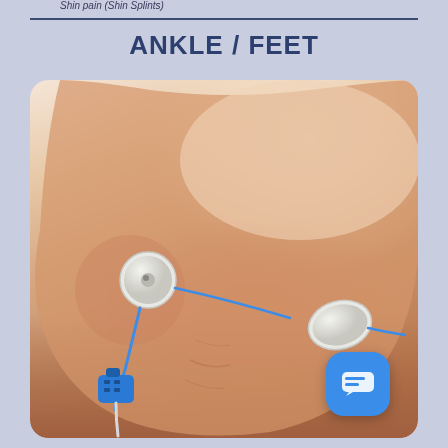Shin pain (Shin Splints)
ANKLE / FEET
[Figure (photo): A human ankle and foot with two TENS electrode pads attached — one circular pad on the outer ankle and one pad near the heel/toe area. A blue wire connector is visible at the bottom near the arch of the foot. A blue cable runs from the electrodes. A blue chat/support button is visible in the lower right corner of the image.]